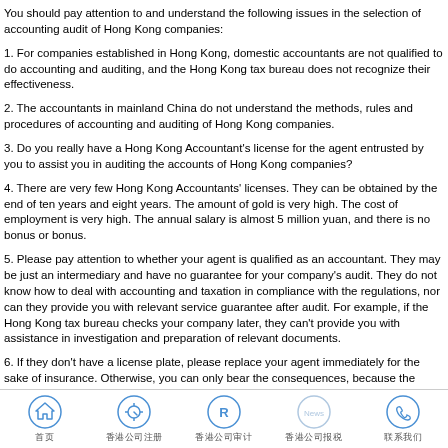You should pay attention to and understand the following issues in the selection of accounting audit of Hong Kong companies:
1. For companies established in Hong Kong, domestic accountants are not qualified to do accounting and auditing, and the Hong Kong tax bureau does not recognize their effectiveness.
2. The accountants in mainland China do not understand the methods, rules and procedures of accounting and auditing of Hong Kong companies.
3. Do you really have a Hong Kong Accountant's license for the agent entrusted by you to assist you in auditing the accounts of Hong Kong companies?
4. There are very few Hong Kong Accountants' licenses. They can be obtained by the end of ten years and eight years. The amount of gold is very high. The cost of employment is very high. The annual salary is almost 5 million yuan, and there is no bonus or bonus.
5. Please pay attention to whether your agent is qualified as an accountant. They may be just an intermediary and have no guarantee for your company's audit. They do not know how to deal with accounting and taxation in compliance with the regulations, nor can they provide you with relevant service guarantee after audit. For example, if the Hong Kong tax bureau checks your company later, they can't provide you with assistance in investigation and preparation of relevant documents.
6. If they don't have a license plate, please replace your agent immediately for the sake of insurance. Otherwise, you can only bear the consequences, because the prosecution period of accounting accounts in Hong Kong is seven years. You find no qualified agent to do the disorderly account, you are likely to pay tax and be punished, pay a fine to collect the subpoena.
首页  香港公司注册  香港公司审计  香港公司报税  联系我们